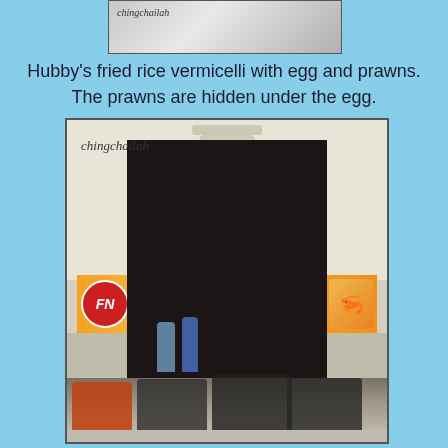[Figure (photo): Partial top of a food photo with watermark 'chingchailah']
Hubby's fried rice vermicelli with egg and prawns. The prawns are hidden under the egg.
[Figure (photo): Exterior photo of Kedai Kopi Kin Kok shophouse in Malaysia. Building shows traditional two-storey shophouse with FN branded signage reading 'KEDAI KOPI KIN KOK' and Chinese characters. Motorcycles parked in front. Watermark 'chingchailah' visible.]